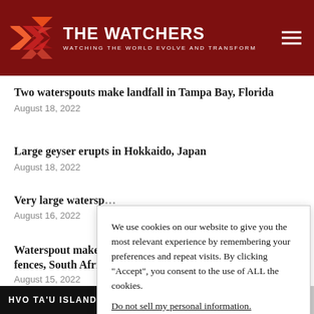THE WATCHERS — WATCHING THE WORLD EVOLVE AND TRANSFORM
Two waterspouts make landfall in Tampa Bay, Florida
August 18, 2022
Large geyser erupts in Hokkaido, Japan
August 18, 2022
Very large watersp…
August 16, 2022
Waterspout makes… fences, South Afri…
August 15, 2022
We use cookies on our website to give you the most relevant experience by remembering your preferences and repeat visits. By clicking "Accept", you consent to the use of ALL the cookies.
Do not sell my personal information.
HVO TA'U ISLAND UNASSIGNED/UNASSIGNED - EART